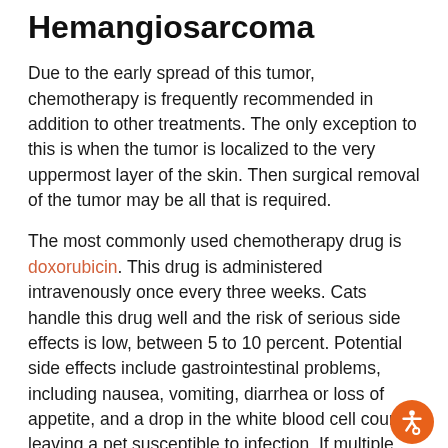Hemangiosarcoma
Due to the early spread of this tumor, chemotherapy is frequently recommended in addition to other treatments. The only exception to this is when the tumor is localized to the very uppermost layer of the skin. Then surgical removal of the tumor may be all that is required.
The most commonly used chemotherapy drug is doxorubicin. This drug is administered intravenously once every three weeks. Cats handle this drug well and the risk of serious side effects is low, between 5 to 10 percent. Potential side effects include gastrointestinal problems, including nausea, vomiting, diarrhea or loss of appetite, and a drop in the white blood cell count, leaving a pet susceptible to infection. If multiple treatments of this drug are given, cumulative side effects include heart problems. In order to prevent the cumulative side effects, the